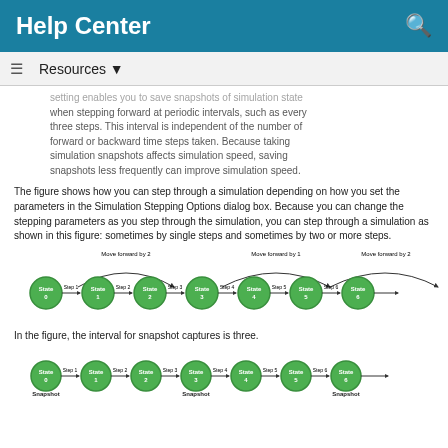Help Center
Resources
...setting enables you to save snapshots of simulation state when stepping forward at periodic intervals, such as every three steps. This interval is independent of the number of forward or backward time steps taken. Because taking simulation snapshots affects simulation speed, saving snapshots less frequently can improve simulation speed.
The figure shows how you can step through a simulation depending on how you set the parameters in the Simulation Stepping Options dialog box. Because you can change the stepping parameters as you step through the simulation, you can step through a simulation as shown in this figure: sometimes by single steps and sometimes by two or more steps.
[Figure (flowchart): Diagram showing simulation states (State 0 through State 6) connected by arrows labeled Step 1 through Step 6, with arcs above labeled Move forward by 2, Move forward by 1, Move forward by 2.]
In the figure, the interval for snapshot captures is three.
[Figure (flowchart): Diagram showing simulation states (State 0 through State 6) connected by arrows, with Snapshot labels below State 0, State 3, and State 6.]